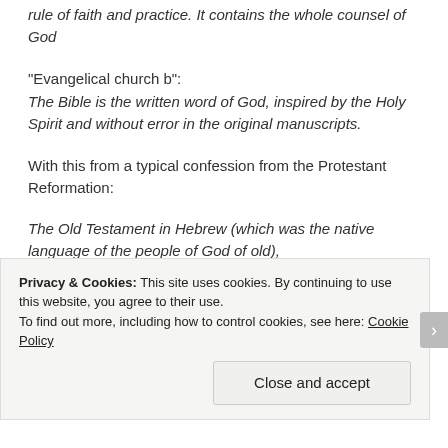rule of faith and practice. It contains the whole counsel of God
“Evangelical church b”:
The Bible is the written word of God, inspired by the Holy Spirit and without error in the original manuscripts.
With this from a typical confession from the Protestant Reformation:
The Old Testament in Hebrew (which was the native language of the people of God of old),
Privacy & Cookies: This site uses cookies. By continuing to use this website, you agree to their use.
To find out more, including how to control cookies, see here: Cookie Policy
Close and accept